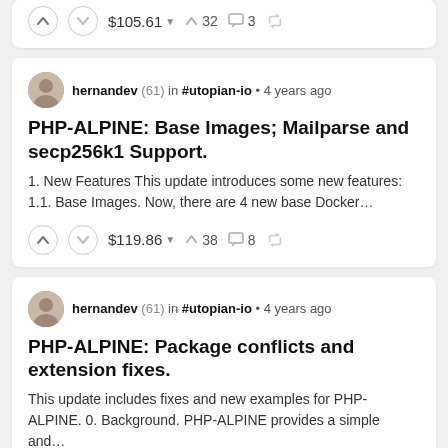$105.61  32  3
hernandev (61) in #utopian-io • 4 years ago
PHP-ALPINE: Base Images; Mailparse and secp256k1 Support.
1. New Features This update introduces some new features: 1.1. Base Images. Now, there are 4 new base Docker…
$119.86  38  8
hernandev (61) in #utopian-io • 4 years ago
PHP-ALPINE: Package conflicts and extension fixes.
This update includes fixes and new examples for PHP-ALPINE. 0. Background. PHP-ALPINE provides a simple and…
$65.78  39  3